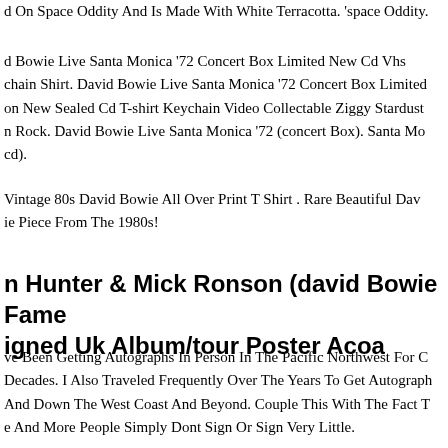d On Space Oddity And Is Made With White Terracotta. 'space Oddity.
d Bowie Live Santa Monica '72 Concert Box Limited New Cd Vhs chain Shirt. David Bowie Live Santa Monica '72 Concert Box Limited on New Sealed Cd T-shirt Keychain Video Collectable Ziggy Stardust n Rock. David Bowie Live Santa Monica '72 (concert Box). Santa Mo cd).
Vintage 80s David Bowie All Over Print T Shirt . Rare Beautiful Dav ie Piece From The 1980s!
Hunter & Mick Ronson (david Bowie Fame igned Uk Album/tour Poster Acoa
ve Been Getting Autographs In Person In The Pacific Northwest For C Decades. I Also Traveled Frequently Over The Years To Get Autograph And Down The West Coast And Beyond. Couple This With The Fact T e And More People Simply Dont Sign Or Sign Very Little.